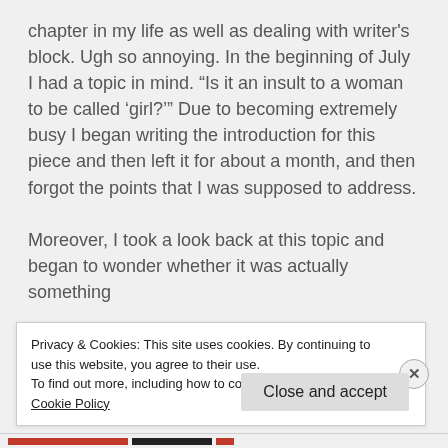chapter in my life as well as dealing with writer's block. Ugh so annoying. In the beginning of July I had a topic in mind. “Is it an insult to a woman to be called ‘girl?’” Due to becoming extremely busy I began writing the introduction for this piece and then left it for about a month, and then forgot the points that I was supposed to address.

Moreover, I took a look back at this topic and began to wonder whether it was actually something
Privacy & Cookies: This site uses cookies. By continuing to use this website, you agree to their use.
To find out more, including how to control cookies, see here: Cookie Policy